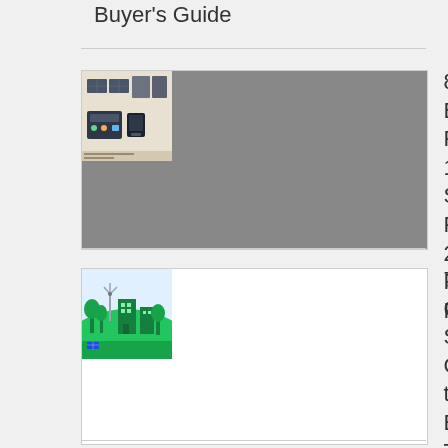Buyer's Guide
[Figure (photo): Thumbnail image of portable solar panels and power station]
8 of the Best Portable 100W Solar Panels | 2022 Full Review
[Figure (illustration): Illustration of green cityscape with buildings and trees on a hill]
7 Ways Your CSR Strategy Can Help the Environment Today!